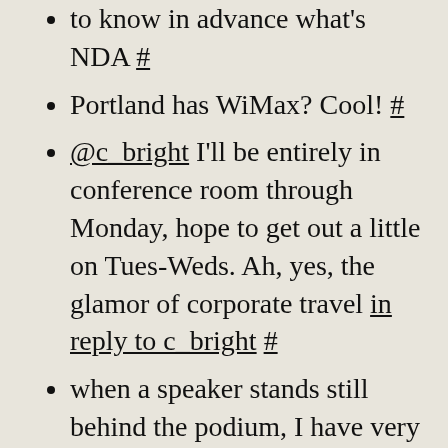to know in advance what's NDA #
Portland has WiMax? Cool! #
@c_bright I'll be entirely in conference room through Monday, hope to get out a little on Tues-Weds. Ah, yes, the glamor of corporate travel in reply to c_bright #
when a speaker stands still behind the podium, I have very little to do. Which can be either relaxing or boring. #
I actually have more fun with the speakers I have to chase. You know who you are. #
discussing the physics of cooling datacenters. Sun: We Do Cool Stuff (pun